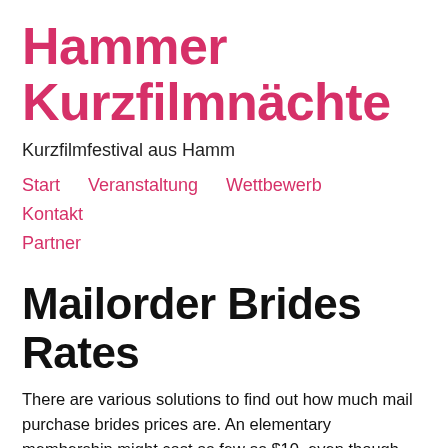Hammer Kurzfilmnächte
Kurzfilmfestival aus Hamm
Start
Veranstaltung
Wettbewerb
Kontakt
Partner
Mailorder Brides Rates
There are various solutions to find out how much mail purchase brides prices are. An elementary membership might cost as few as $10, even though services demand as much look at here as 50 dollars a month. There are also several premium subscriptions that come with different